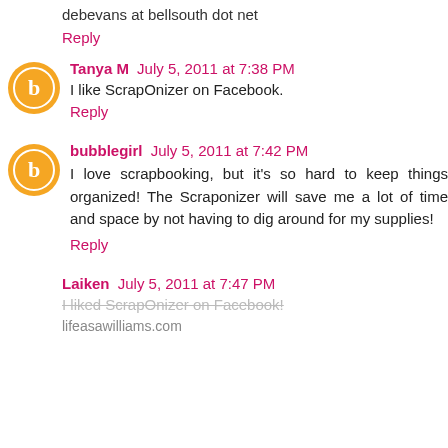debevans at bellsouth dot net
Reply
Tanya M July 5, 2011 at 7:38 PM
I like ScrapOnizer on Facebook.
Reply
bubblegirl July 5, 2011 at 7:42 PM
I love scrapbooking, but it's so hard to keep things organized! The Scraponizer will save me a lot of time and space by not having to dig around for my supplies!
Reply
Laiken July 5, 2011 at 7:47 PM
I liked ScrapOnizer on Facebook!
lifeasawilliams.com